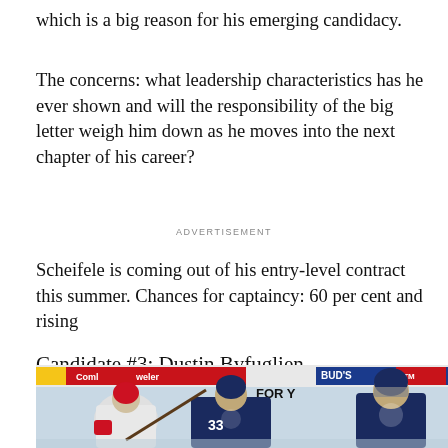which is a big reason for his emerging candidacy.
The concerns: what leadership characteristics has he ever shown and will the responsibility of the big letter weigh him down as he moves into the next chapter of his career?
ADVERTISEMENT
Scheifele is coming out of his entry-level contract this summer. Chances for captaincy: 60 per cent and rising
Candidate #3: Dustin Byfuglien
[Figure (photo): Hockey players on the ice, including a player wearing jersey #33 in a dark navy Winnipeg Jets uniform, flanked by another player in white and a goalie in navy. Advertisement banners visible in the background.]